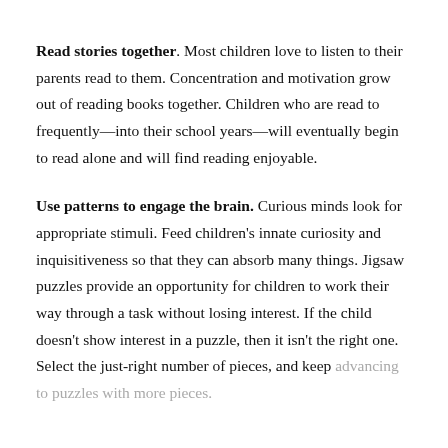Read stories together. Most children love to listen to their parents read to them. Concentration and motivation grow out of reading books together. Children who are read to frequently—into their school years—will eventually begin to read alone and will find reading enjoyable.
Use patterns to engage the brain. Curious minds look for appropriate stimuli. Feed children's innate curiosity and inquisitiveness so that they can absorb many things. Jigsaw puzzles provide an opportunity for children to work their way through a task without losing interest. If the child doesn't show interest in a puzzle, then it isn't the right one. Select the just-right number of pieces, and keep advancing to puzzles with more pieces.